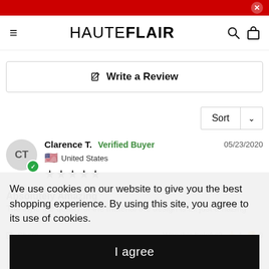HAUTEFLAIR
Write a Review
Sort
Clarence T.   Verified Buyer   05/23/2020
United States
★★★★★
Absolutely Amazing
The style the quality of the material the design is all just amazing
Share   Was this helpful?  👍 1  👎 0
We use cookies on our website to give you the best shopping experience. By using this site, you agree to its use of cookies.
I agree